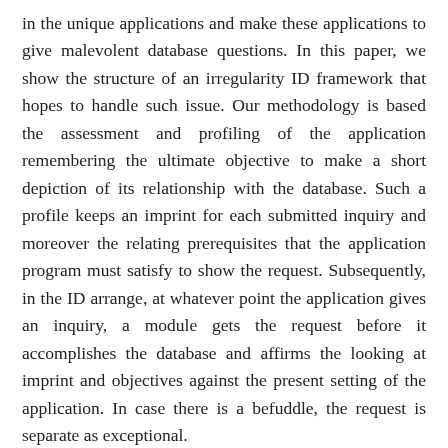in the unique applications and make these applications to give malevolent database questions. In this paper, we show the structure of an irregularity ID framework that hopes to handle such issue. Our methodology is based the assessment and profiling of the application remembering the ultimate objective to make a short depiction of its relationship with the database. Such a profile keeps an imprint for each submitted inquiry and moreover the relating prerequisites that the application program must satisfy to show the request. Subsequently, in the ID arrange, at whatever point the application gives an inquiry, a module gets the request before it accomplishes the database and affirms the looking at imprint and objectives against the present setting of the application. In case there is a befuddle, the request is separate as exceptional.
Keywords: Database, Insider Attacks, Anomaly Detection, Application Profile, SQL Injection.
Scope of the Article: Database Theory and